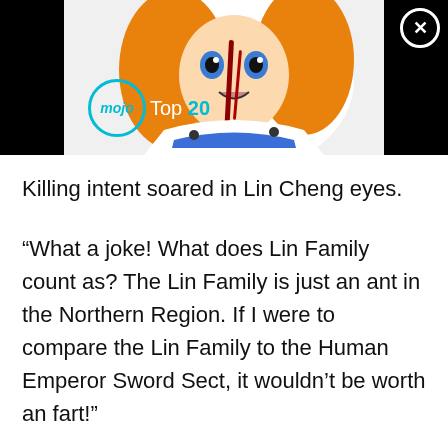[Figure (screenshot): Screenshot of a WatchMojo 'Top 20' video thumbnail featuring an anime girl character with orange hair and blue eyes, appearing distressed, with blood streaks visible. The thumbnail shows the mojo logo in a teal circle and 'Top 20' text on a dark background.]
Killing intent soared in Lin Cheng eyes.
“What a joke! What does Lin Family count as? The Lin Family is just an ant in the Northern Region. If I were to compare the Lin Family to the Human Emperor Sword Sect, it wouldn’t be worth an fart!”